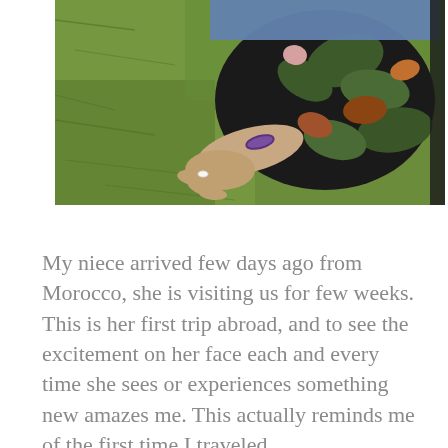[Figure (photo): Overhead/aerial view of a person lying on green grass. The person is wearing a black floral-print top with orange and green leaf patterns, denim shorts or jeans, and a purple bracelet on their wrist. Their hand is visible with a white ring on one finger. The scene is taken from above.]
My niece arrived few days ago from Morocco, she is visiting us for few weeks. This is her first trip abroad, and to see the excitement on her face each and every time she sees or experiences something new amazes me. This actually reminds me of the first time I traveled